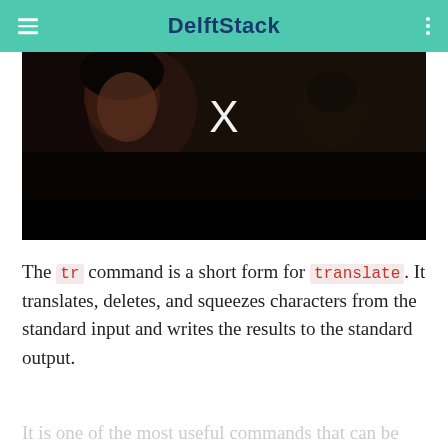DelftStack
[Figure (screenshot): Video player screenshot showing a dark cinema scene with a person in the foreground and an X overlay icon, with black video controls bar at the bottom]
The tr command is a short form for translate. It translates, deletes, and squeezes characters from the standard input and writes the results to the standard output.